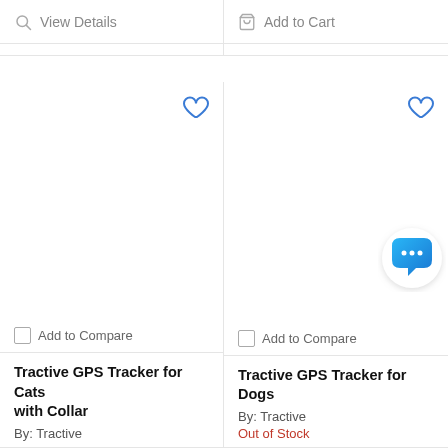[Figure (screenshot): Top-left card: action bar with 'View Details' button (search icon + text)]
[Figure (screenshot): Top-right card: action bar with 'Add to Cart' button (cart icon + text), grayed out]
[Figure (screenshot): Bottom-left card: product card for 'Tractive GPS Tracker for Cats with Collar' with heart/wishlist icon, Add to Compare checkbox]
Add to Compare
Tractive GPS Tracker for Cats with Collar
By: Tractive
[Figure (screenshot): Bottom-right card: product card for 'Tractive GPS Tracker for Dogs' with heart/wishlist icon, Add to Compare checkbox, chat bubble overlay]
Add to Compare
Tractive GPS Tracker for Dogs
By: Tractive
Out of Stock